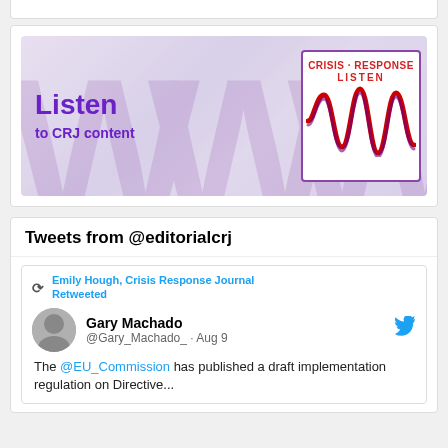[Figure (illustration): Listen to CRJ content banner with purple text 'Listen to CRJ content' on left and Crisis Response LISTEN logo with red waveform on right]
Tweets from @editorialcrj
Emily Hough, Crisis Response Journal Retweeted
Gary Machado @Gary_Machado_ · Aug 9
The @EU_Commission has published a draft implementation regulation on Directive...